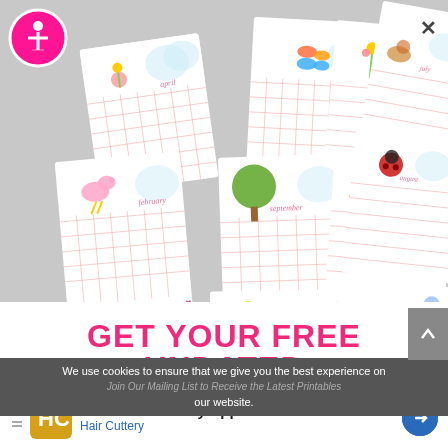[Figure (photo): Collage of 12 illustrated monthly calendar pages (January through December) with cute decorative animals, insects, plants and seasonal motifs on white cards arranged overlapping on a gray background]
GET YOUR FREE UNDATED CALENDARS
We use cookies to ensure that we give you the best experience on our website.
Join Our Mailing List to Receive the Latest Printables
Book a Same Day Appointment
Hair Cuttery